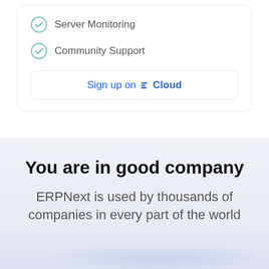Server Monitoring
Community Support
Sign up on F Cloud
You are in good company
ERPNext is used by thousands of companies in every part of the world